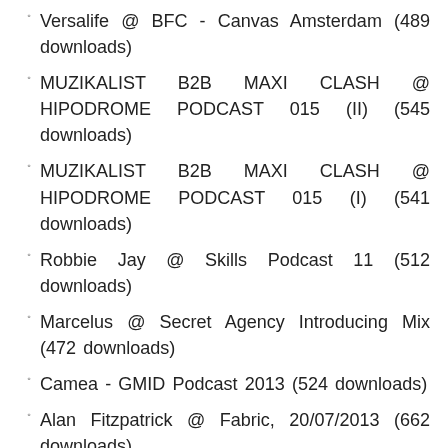Versalife @ BFC - Canvas Amsterdam (489 downloads)
MUZIKALIST B2B MAXI CLASH @ HIPODROME PODCAST 015 (II) (545 downloads)
MUZIKALIST B2B MAXI CLASH @ HIPODROME PODCAST 015 (I) (541 downloads)
Robbie Jay @ Skills Podcast 11 (512 downloads)
Marcelus @ Secret Agency Introducing Mix (472 downloads)
Camea - GMID Podcast 2013 (524 downloads)
Alan Fitzpatrick @ Fabric, 20/07/2013 (662 downloads)
Dan HabarNam @ SSS Podcast #044 (547